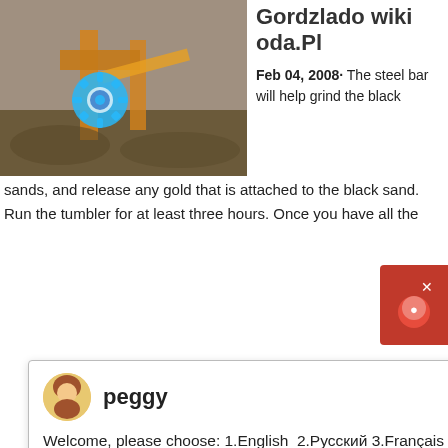[Figure (photo): Industrial mining/crushing equipment at a construction or mining site]
Gordzlado wiki oda.Pl
Feb 04, 2008· The steel bar will help grind the black sands, and release any gold that is attached to the black sand. Run the tumbler for at least three hours. Once you have all th...
Welcome, please choose: 1.English  2.Русский 3.Français 4.Español  5.bahasa Indonesia  6.عربى
get price
[Figure (photo): Large yellow mobile crushing/mining machine at a mining site with workers on a mound in the background]
Dealing Wi... Black San... Getting All The Gold Out Of Your
The frustrating thing about black sand is